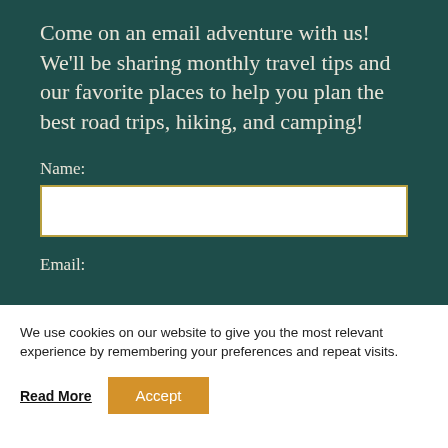Come on an email adventure with us! We'll be sharing monthly travel tips and our favorite places to help you plan the best road trips, hiking, and camping!
Name:
Email:
We use cookies on our website to give you the most relevant experience by remembering your preferences and repeat visits.
Read More
Accept